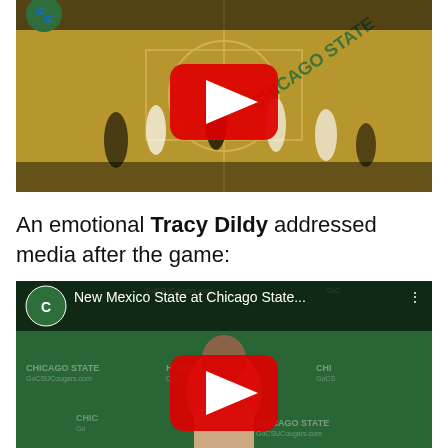[Figure (screenshot): YouTube video thumbnail showing a basketball game at Chicago State, with players on the court and a YouTube play button overlay. Green 'CHICAGO STATE' text visible on the court.]
An emotional Tracy Dildy addressed media after the game:
[Figure (screenshot): YouTube video thumbnail showing Tracy Dildy at a press conference in front of Chicago State (GoCSUCougars.com) backdrop. Video title reads 'New Mexico State at Chicago State...' with YouTube play button overlay.]